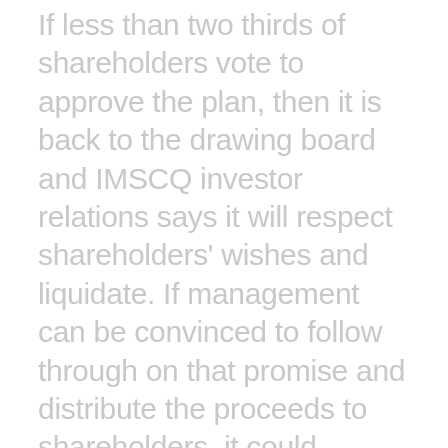If less than two thirds of shareholders vote to approve the plan, then it is back to the drawing board and IMSCQ investor relations says it will respect shareholders' wishes and liquidate. If management can be convinced to follow through on that promise and distribute the proceeds to shareholders, it could happen as soon as April or May if that plan is put forth by management and approved. Management could stall however and they would have up to 18 months from the filing date of exclusivity when only they could file a plan which they could use to look for alternative transactions while continuing to pay themselves. There could be various ways to fight that kind of delay though. With the help of the US Trustee and the judge, a trustee could be requested which would remove management from control and if a trustee is denied then an examiner is automatically appointed which could investigate management's past actions. Or a conversion to